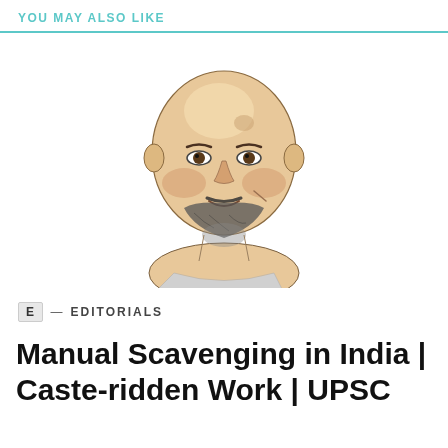YOU MAY ALSO LIKE
[Figure (illustration): Line art illustration of a bald man with a beard, rendered in sketch style with light skin tones and dark outlines]
E — EDITORIALS
Manual Scavenging in India | Caste-ridden Work | UPSC